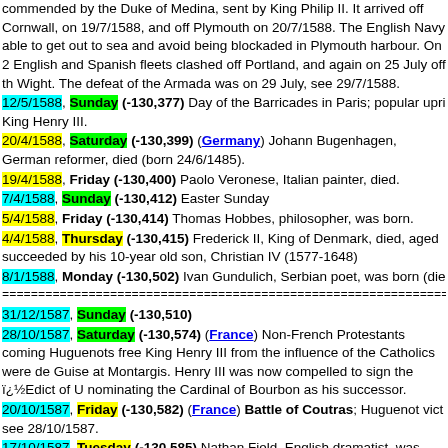commended by the Duke of Medina, sent by King Philip II. It arrived off Cornwall, on 19/7/1588, and off Plymouth on 20/7/1588. The English Navy able to get out to sea and avoid being blockaded in Plymouth harbour. On 2 English and Spanish fleets clashed off Portland, and again on 25 July off th Wight. The defeat of the Armada was on 29 July, see 29/7/1588.
12/5/1588, Sunday (-130,377) Day of the Barricades in Paris; popular upri King Henry III.
20/4/1588, Saturday (-130,399) (Germany) Johann Bugenhagen, German reformer, died (born 24/6/1485).
19/4/1588, Friday (-130,400) Paolo Veronese, Italian painter, died.
7/4/1588, Sunday (-130,412) Easter Sunday
5/4/1588, Friday (-130,414) Thomas Hobbes, philosopher, was born.
4/4/1588, Thursday (-130,415) Frederick II, King of Denmark, died, aged succeeded by his 10-year old son, Christian IV (1577-1648)
8/1/1588, Monday (-130,502) Ivan Gundulich, Serbian poet, was born (die
31/12/1587, Sunday (-130,510)
28/10/1587, Saturday (-130,574) (France) Non-French Protestants coming Huguenots free King Henry III from the influence of the Catholics were de Guise at Montargis. Henry III was now compelled to sign the ï¿½Edict of U nominating the Cardinal of Bourbon as his successor.
20/10/1587, Friday (-130,582) (France) Battle of Coutras; Huguenot vict see 28/10/1587.
17/10/1587, Tuesday (-130,585) Nathan Field, English dramatist, was borr 20/2/1633).
18/9/1587, Monday (-130,614) Francesca Caccini, composer, was born.
13/9/1587, Wednesday (-130,619) Jacques Godefroy, legal writer, was bor